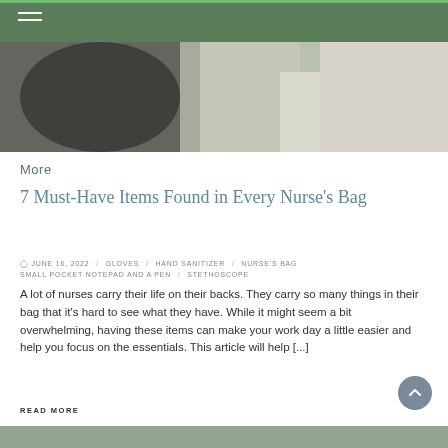[Figure (photo): A partial view of a nurse or medical professional at work, cropped at the top of the page]
More
7 Must-Have Items Found in Every Nurse's Bag
JUNE 16, 2022   GLOVES   HAND SANITIZER   NURSE'S BAG   SMALL POCKET NOTEPAD AND A PEN   STETHOSCOPE
A lot of nurses carry their life on their backs. They carry so many things in their bag that it's hard to see what they have. While it might seem a bit overwhelming, having these items can make your work day a little easier and help you focus on the essentials. This article will help [...]
READ MORE
[Figure (photo): Bottom portion of another image visible at the very bottom of the page]